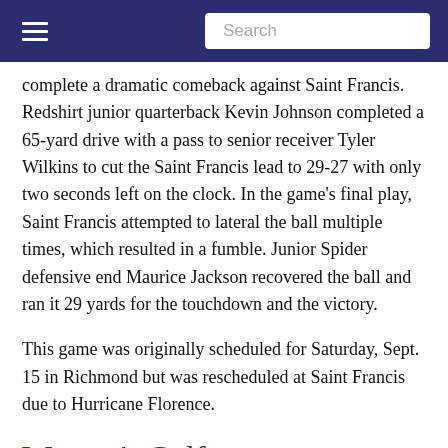Search
complete a dramatic comeback against Saint Francis. Redshirt junior quarterback Kevin Johnson completed a 65-yard drive with a pass to senior receiver Tyler Wilkins to cut the Saint Francis lead to 29-27 with only two seconds left on the clock. In the game’s final play, Saint Francis attempted to lateral the ball multiple times, which resulted in a fumble. Junior Spider defensive end Maurice Jackson recovered the ball and ran it 29 yards for the touchdown and the victory.
This game was originally scheduled for Saturday, Sept. 15 in Richmond but was rescheduled at Saint Francis due to Hurricane Florence.
Women’s Golf
Sept. 9-10: Second Place in the Kingsmill Intercollegiate in